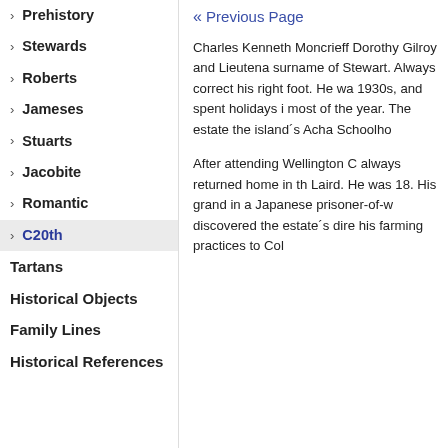› Prehistory
› Stewards
› Roberts
› Jameses
› Stuarts
› Jacobite
› Romantic
› C20th
Tartans
Historical Objects
Family Lines
Historical References
« Previous Page
Charles Kenneth Moncrieff Dorothy Gilroy and Lieutena surname of Stewart. Always correct his right foot. He wa 1930s, and spent holidays i most of the year. The estate the island´s Acha Schoolho
After attending Wellington C always returned home in th Laird. He was 18. His grand in a Japanese prisoner-of-w discovered the estate´s dire his farming practices to Col